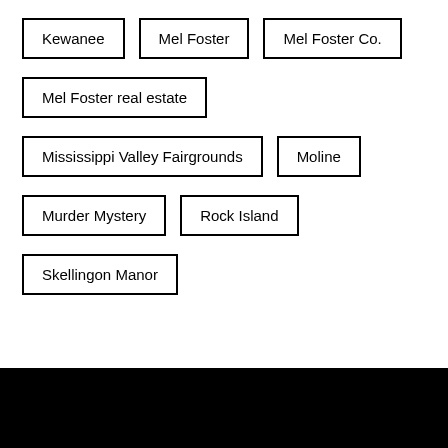Kewanee
Mel Foster
Mel Foster Co.
Mel Foster real estate
Mississippi Valley Fairgrounds
Moline
Murder Mystery
Rock Island
Skellingon Manor
[Figure (other): Black rectangle at bottom of page]